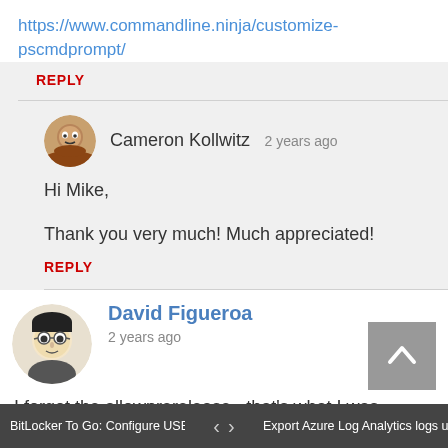https://www.commandline.ninja/customize-pscmdprompt/
REPLY
Cameron Kollwitz  2 years ago
Hi Mike,

Thank you very much! Much appreciated!
REPLY
David Figueroa
2 years ago
I forgot the allowprerelease.. that's what I was missing.

Thanks Mike!
BitLocker To Go: Configure USB dri...   <   >   Export Azure Log Analytics logs usi...